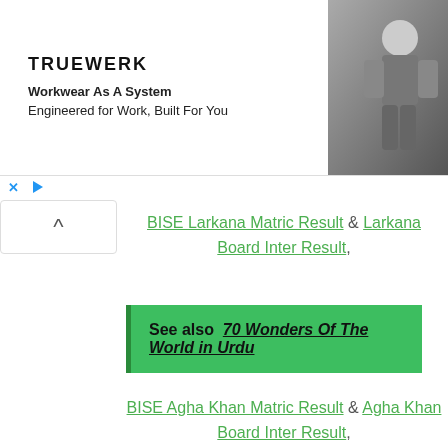[Figure (screenshot): Advertisement banner for TRUEWERK with logo, tagline 'Workwear As A System, Engineered for Work, Built For You' and a photo of a worker]
BISE Larkana Matric Result & Larkana Board Inter Result,
See also  70 Wonders Of The World in Urdu
BISE Agha Khan Matric Result & Agha Khan Board Inter Result,